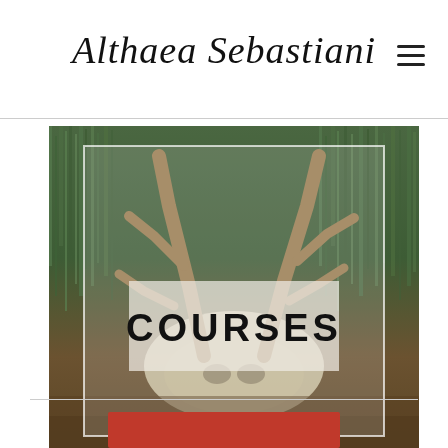Althaea Sebastiani
[Figure (photo): Deer skull with antlers lying in green grass, with a semi-transparent white square border overlay and a centered white/translucent box with the word COURSES in bold black text]
COURSES